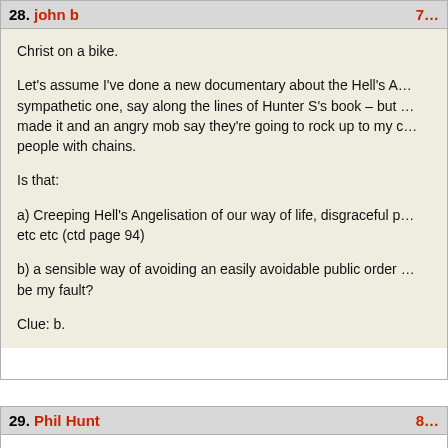28. john b  7…
Christ on a bike.

Let's assume I've done a new documentary about the Hell's A… sympathetic one, say along the lines of Hunter S's book – but … made it and an angry mob say they're going to rock up to my c… people with chains.

Is that:

a) Creeping Hell's Angelisation of our way of life, disgraceful p… etc etc (ctd page 94)

b) a sensible way of avoiding an easily avoidable public order … be my fault?

Clue: b.
29. Phil Hunt  8…